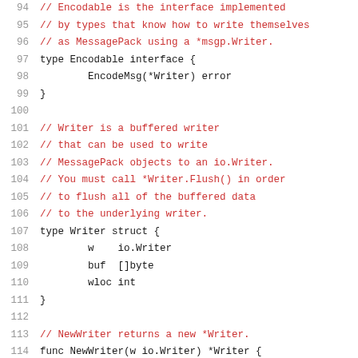[Figure (screenshot): Source code snippet in Go programming language showing lines 94-115, with line numbers in grey on the left, comments in red/dark red, and code in dark/black monospace font. Shows Encodable interface definition, Writer struct definition, and NewWriter function.]